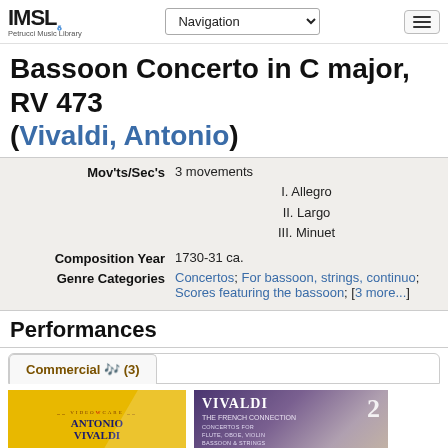IMSLP Petrucci Music Library — Navigation — [hamburger menu]
Bassoon Concerto in C major, RV 473 (Vivaldi, Antonio)
| Field | Value |
| --- | --- |
| Mov'ts/Sec's | 3 movements
I. Allegro
II. Largo
III. Minuet |
| Composition Year | 1730-31 ca. |
| Genre Categories | Concertos; For bassoon, strings, continuo; Scores featuring the bassoon; [3 more...] |
Performances
Commercial 🎵 (3)
[Figure (photo): Yellow album cover for Antonio Vivaldi recording]
[Figure (photo): Purple-blue album cover for Vivaldi: The French Connection 2, Concertos for Flute, Oboe, Violin, Bassoon & Strings]